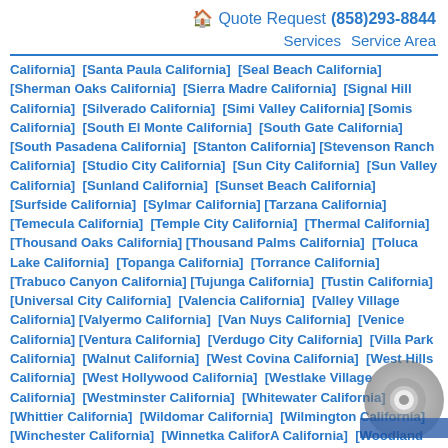🏠 Quote Request (858)293-8844 Services Service Area
California] [Santa Paula California] [Seal Beach California] [Sherman Oaks California] [Sierra Madre California] [Signal Hill California] [Silverado California] [Simi Valley California] [Somis California] [South El Monte California] [South Gate California] [South Pasadena California] [Stanton California] [Stevenson Ranch California] [Studio City California] [Sun City California] [Sun Valley California] [Sunland California] [Sunset Beach California] [Surfside California] [Sylmar California] [Tarzana California] [Temecula California] [Temple City California] [Thermal California] [Thousand Oaks California] [Thousand Palms California] [Toluca Lake California] [Topanga California] [Torrance California] [Trabuco Canyon California] [Tujunga California] [Tustin California] [Universal City California] [Valencia California] [Valley Village California] [Valyermo California] [Van Nuys California] [Venice California] [Ventura California] [Verdugo City California] [Villa Park California] [Walnut California] [West Covina California] [West Hills California] [West Hollywood California] [Westlake Village California] [Westminster California] [Whitewater California] [Whittier California] [Wildomar California] [Wilmington California] [Winchester California] [Winnetka California A California] [Woodland Hills California] [Yorba Linda C [Atherton California] [Belmont California] [Brisbane California] [Burlingame California] [Daly City California] [Half Moon Bay California] [Loma Mar California] [March Air Force